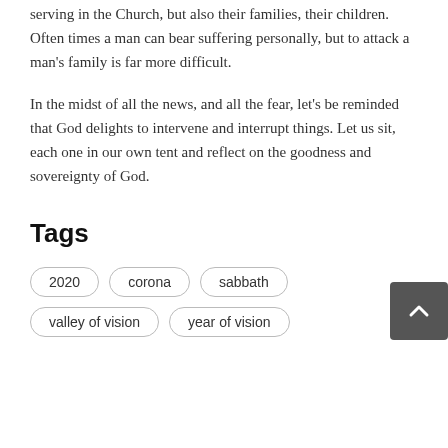serving in the Church, but also their families, their children. Often times a man can bear suffering personally, but to attack a man's family is far more difficult.
In the midst of all the news, and all the fear, let's be reminded that God delights to intervene and interrupt things. Let us sit, each one in our own tent and reflect on the goodness and sovereignty of God.
Tags
2020
corona
sabbath
valley of vision
year of vision